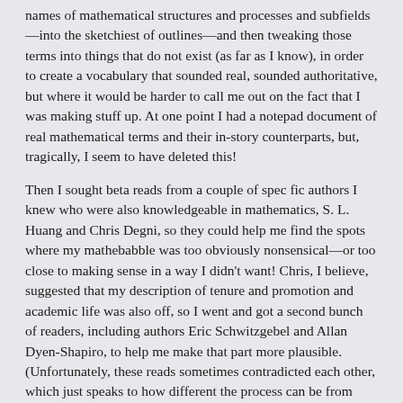names of mathematical structures and processes and subfields—into the sketchiest of outlines—and then tweaking those terms into things that do not exist (as far as I know), in order to create a vocabulary that sounded real, sounded authoritative, but where it would be harder to call me out on the fact that I was making stuff up. At one point I had a notepad document of real mathematical terms and their in-story counterparts, but, tragically, I seem to have deleted this!
Then I sought beta reads from a couple of spec fic authors I knew who were also knowledgeable in mathematics, S. L. Huang and Chris Degni, so they could help me find the spots where my mathebabble was too obviously nonsensical—or too close to making sense in a way I didn't want! Chris, I believe, suggested that my description of tenure and promotion and academic life was also off, so I went and got a second bunch of readers, including authors Eric Schwitzgebel and Allan Dyen-Shapiro, to help me make that part more plausible. (Unfortunately, these reads sometimes contradicted each other, which just speaks to how different the process can be from university to university, I guess.)